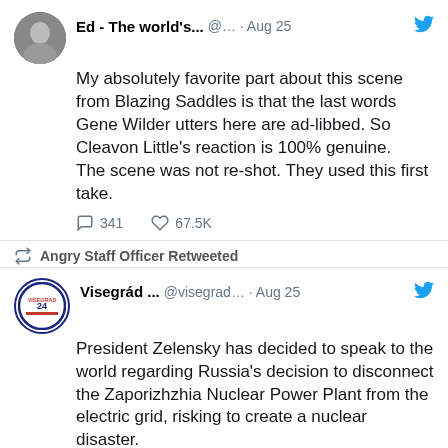[Figure (screenshot): Twitter/X screenshot showing two tweets]
Ed - The world's... @... · Aug 25
My absolutely favorite part about this scene from Blazing Saddles is that the last words Gene Wilder utters here are ad-libbed. So Cleavon Little's reaction is 100% genuine.
The scene was not re-shot. They used this first take.
341   67.5K
Angry Staff Officer Retweeted
Visegrád ... @visegrad... · Aug 25
President Zelensky has decided to speak to the world regarding Russia's decision to disconnect the Zaporizhzhia Nuclear Power Plant from the electric grid, risking to create a nuclear disaster.

Subtitles in English via @Lyla_lilas